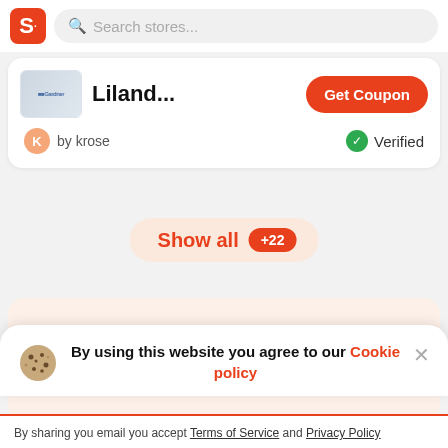S  Search stores...
[Figure (screenshot): Coupon card for Liland store with Get Coupon button, user krose badge, and Verified badge]
Show all +22
Best offers in your inbox, stay updated!
By using this website you agree to our Cookie policy
By sharing you email you accept Terms of Service and Privacy Policy